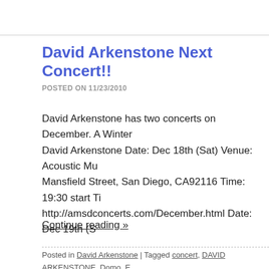David Arkenstone Next Concert!!
POSTED ON 11/23/2010
David Arkenstone has two concerts on December. A Winter... David Arkenstone Date: Dec 18th (Sat) Venue: Acoustic Mu... Mansfield Street, San Diego, CA92116 Time: 19:30 start Ti... http://amsdconcerts.com/December.html Date: Dec 19th (S...
Continue reading »
Posted in David Arkenstone | Tagged concert, DAVID ARKENSTONE, Domo, E... grammy, jazzy, Myths and Legends, New Age, Sketches From An American Jo... world | Comments Off